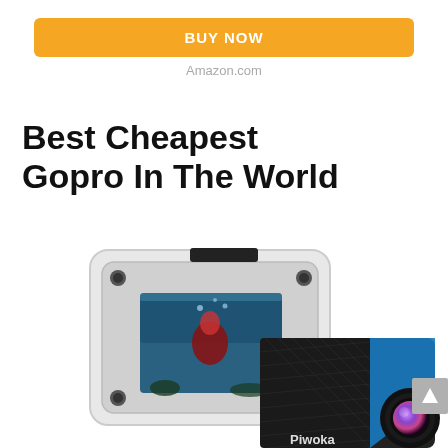BUY NOW
Amazon.com
Best Cheapest Gopro In The World
[Figure (photo): Action camera (Piwoka brand) shown in a waterproof case displaying an underwater diver scene on its screen, alongside the camera body in black and blue with a lens visible, partially cropped at bottom of page.]